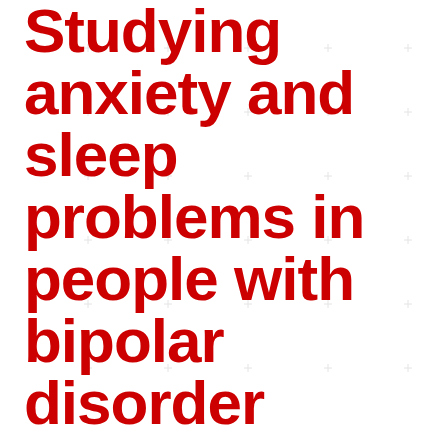Studying anxiety and sleep problems in people with bipolar disorder
Posted May 19th 2022
Recently published in the Journal of Affective Disorders, this study from the NCMH looked at people with bipolar disorder and investigated whether those